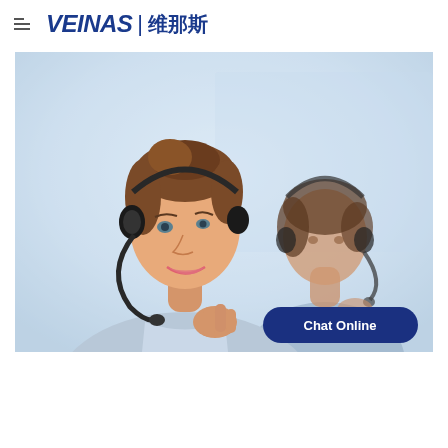VEINAS | 维那斯
[Figure (photo): Two women wearing telephone headsets in a call center / customer service setting. The foreground woman has dark hair up and is touching her chin, smiling slightly. The background woman is slightly out of focus. A 'Chat Online' button overlay appears at the bottom right of the image.]